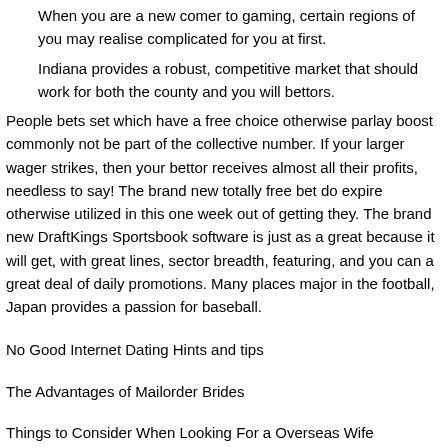When you are a new comer to gaming, certain regions of you may realise complicated for you at first.
Indiana provides a robust, competitive market that should work for both the county and you will bettors.
People bets set which have a free choice otherwise parlay boost commonly not be part of the collective number. If your larger wager strikes, then your bettor receives almost all their profits, needless to say! The brand new totally free bet do expire otherwise utilized in this one week out of getting they. The brand new DraftKings Sportsbook software is just as a great because it will get, with great lines, sector breadth, featuring, and you can a great deal of daily promotions. Many places major in the football, Japan provides a passion for baseball.
No Good Internet Dating Hints and tips
The Advantages of Mailorder Brides
Things to Consider When Looking For a Overseas Wife